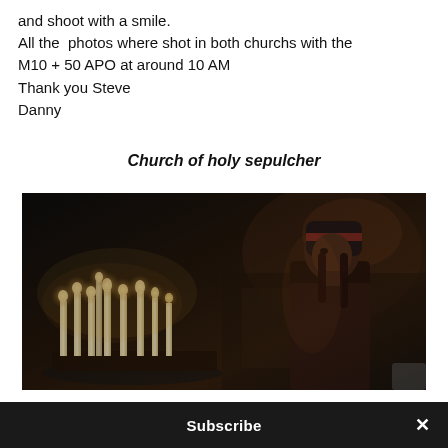and shoot with a smile.
All the  photos where shot in both churchs with the M10 + 50 APO at around 10 AM
Thank you Steve
Danny
Church of holy sepulcher
[Figure (photo): A young girl wearing a dark hat with a red stripe stands near lit candles in a dark church interior. The photo is dark and atmospheric, showing many white candles burning in the foreground on the left and the girl standing to the right.]
Subscribe  ×